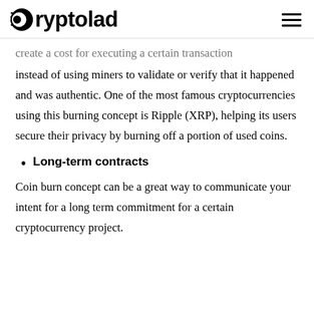Cryptolad
create a cost for executing a certain transaction instead of using miners to validate or verify that it happened and was authentic. One of the most famous cryptocurrencies using this burning concept is Ripple (XRP), helping its users secure their privacy by burning off a portion of used coins.
Long-term contracts
Coin burn concept can be a great way to communicate your intent for a long term commitment for a certain cryptocurrency project.